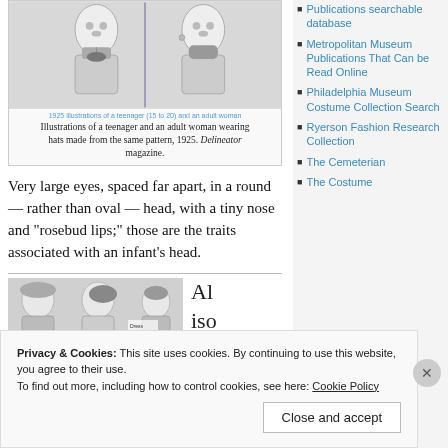[Figure (illustration): 1925 illustrations of a teenager and an adult woman wearing hats]
1925 illustrations of a teenager (15 to 20) and an adult woman
Illustrations of a teenager and an adult woman wearing hats made from the same pattern, 1925. Delineator magazine.
Very large eyes, spaced far apart, in a round — rather than oval — head, with a tiny nose and “rosebud lips;” those are the traits associated with an infant’s head.
[Figure (illustration): 1925 fashion illustration showing women with hats]
Al iso
Publications searchable database
Metropolitan Museum Publications That Can be Read Online
Philadelphia Museum Costume Collection Search
Ryerson Fashion Research Collection
The Cemeterian
The Costume
Privacy & Cookies: This site uses cookies. By continuing to use this website, you agree to their use.
To find out more, including how to control cookies, see here: Cookie Policy
Close and accept